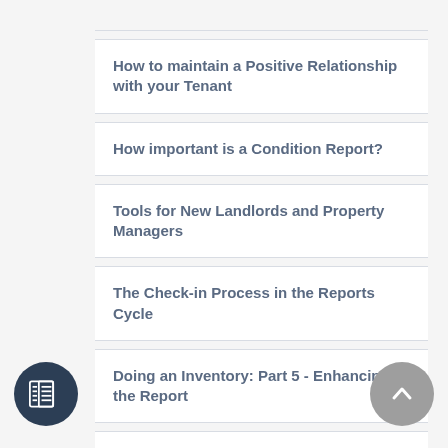How to maintain a Positive Relationship with your Tenant
How important is a Condition Report?
Tools for New Landlords and Property Managers
The Check-in Process in the Reports Cycle
Doing an Inventory: Part 5 - Enhancing the Report
Doing an Inventory: Part 4 - Finishing Up
Doing an Inventory: Part 3 - Describing Items